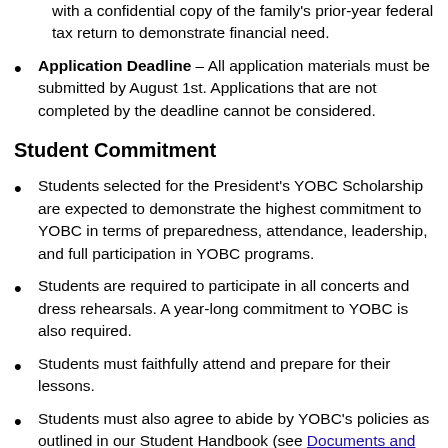with a confidential copy of the family's prior-year federal tax return to demonstrate financial need.
Application Deadline – All application materials must be submitted by August 1st. Applications that are not completed by the deadline cannot be considered.
Student Commitment
Students selected for the President's YOBC Scholarship are expected to demonstrate the highest commitment to YOBC in terms of preparedness, attendance, leadership, and full participation in YOBC programs.
Students are required to participate in all concerts and dress rehearsals. A year-long commitment to YOBC is also required.
Students must faithfully attend and prepare for their lessons.
Students must also agree to abide by YOBC's policies as outlined in our Student Handbook (see Documents and Forms in the Members area of the website). Applicants